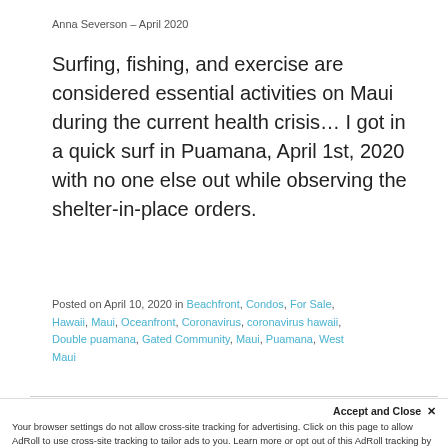Anna Severson – April 2020
Surfing, fishing, and exercise are considered essential activities on Maui during the current health crisis… I got in a quick surf in Puamana, April 1st, 2020 with no one else out while observing the shelter-in-place orders.
Posted on April 10, 2020 in Beachfront, Condos, For Sale, Hawaii, Maui, Oceanfront, Coronavirus, coronavirus hawaii, Double puamana, Gated Community, Maui, Puamana, West Maui
Your browser settings do not allow cross-site tracking for advertising. Click on this page to allow AdRoll to use cross-site tracking to tailor ads to you. Learn more or opt out of this AdRoll tracking by clicking here. This message only appears once.